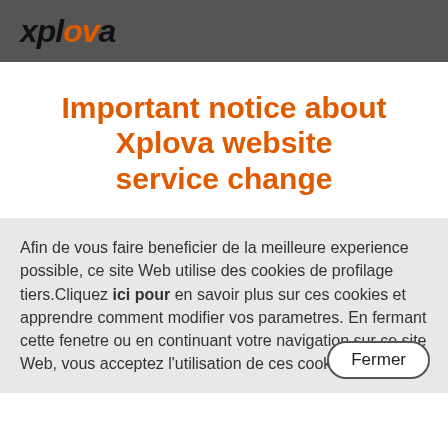xplova
Important notice about Xplova website service change
Afin de vous faire beneficier de la meilleure experience possible, ce site Web utilise des cookies de profilage tiers.Cliquez ici pour en savoir plus sur ces cookies et apprendre comment modifier vos parametres. En fermant cette fenetre ou en continuant votre navigation sur ce site Web, vous acceptez l'utilisation de ces cookies.
Fermer